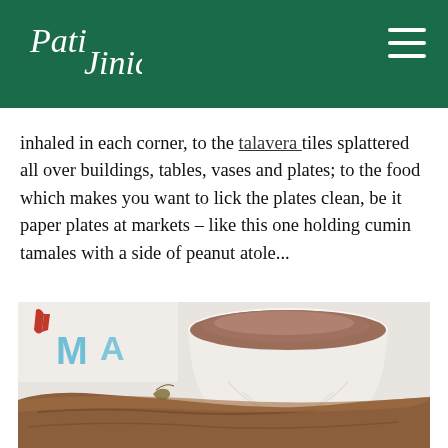Pati Jinich
charm is everywhere: from the history inhaled in each corner, to the talavera tiles splattered all over buildings, tables, vases and plates; to the food which makes you want to lick the plates clean, be it paper plates at markets – like this one holding cumin tamales with a side of peanut atole...
[Figure (photo): Close-up photo of a white cup/bowl filled with peanut atole (a warm chocolate-colored drink) beside a cumin tamale on a paper plate, with colorful lettering visible in the background]